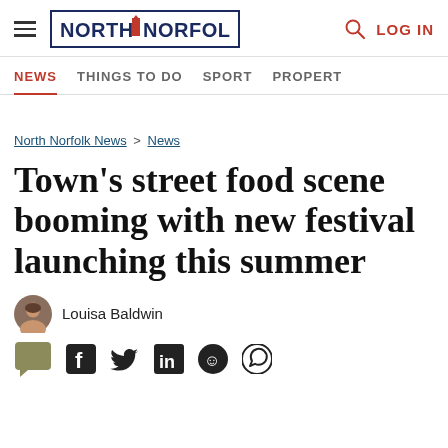North Norfolk News — LOG IN
NEWS  THINGS TO DO  SPORT  PROPERTY
North Norfolk News > News
Town's street food scene booming with new festival launching this summer
Louisa Baldwin